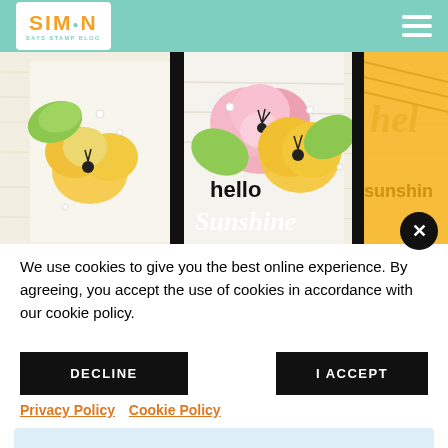Simon Says Stamp Blog
[Figure (photo): Three craft cards side by side featuring tropical hibiscus flowers in pink and yellow, with the words 'hello Sunshine' displayed in bold lettering. Cards are set against a light wood-grain background.]
We use cookies to give you the best online experience. By agreeing, you accept the use of cookies in accordance with our cookie policy.
DECLINE
I ACCEPT
Privacy Policy   Cookie Policy